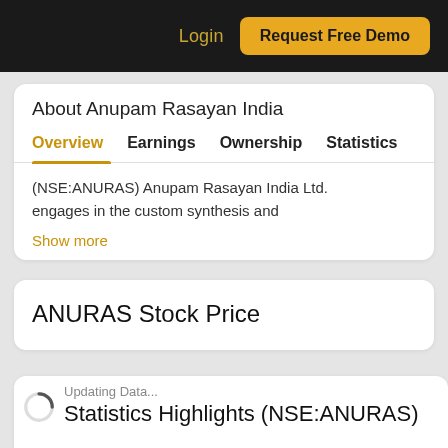Login | Request Free Demo
About Anupam Rasayan India
Overview   Earnings   Ownership   Statistics
(NSE:ANURAS) Anupam Rasayan India Ltd. engages in the custom synthesis and
Show more
ANURAS Stock Price
Updating Data...
Statistics Highlights (NSE:ANURAS)